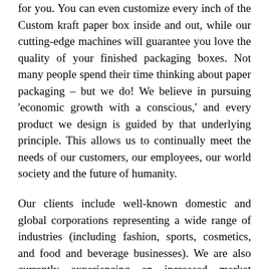for you. You can even customize every inch of the Custom kraft paper box inside and out, while our cutting-edge machines will guarantee you love the quality of your finished packaging boxes. Not many people spend their time thinking about paper packaging – but we do! We believe in pursuing 'economic growth with a conscious,' and every product we design is guided by that underlying principle. This allows us to continually meet the needs of our customers, our employees, our world society and the future of humanity.
Our clients include well-known domestic and global corporations representing a wide range of industries (including fashion, sports, cosmetics, and food and beverage businesses). We are also currently experiencing an increased market penetration in North America, European Union, Southeast Asia and Middle-East. Whether it's a 'business to business' or a business to customer' relationship, we aspire to be the 'best of the best! From raw materials, procurement, incoming testing and production control to the final product inspection phase, every process and link in our supply chain adheres to our meticulous